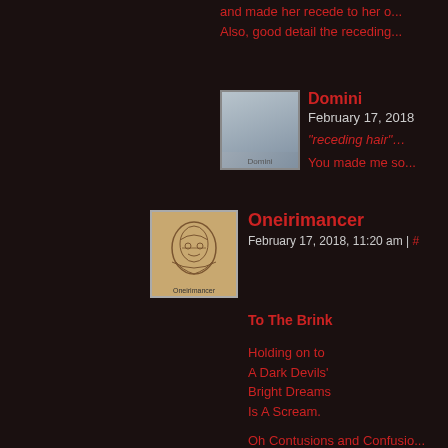and made her recede to her o... Also, good detail the receding...
Domini
February 17, 2018
"receding hair"...
You made me so...
[Figure (photo): Domini avatar - grey square placeholder photo with label Domini]
Oneirimancer
February 17, 2018, 11:20 am | #
[Figure (illustration): Oneirimancer avatar - sepia sketch illustration of a face with label Oneirimancer]
To The Brink

Holding on to
A Dark Devils'
Bright Dreams
Is A Scream.

Oh Contusions and Confusio...
Please – Someone – Cut Awa...
My many Illusions / Delusions...
Is Everyone In this Fray

On A Journey of Self-Discove...
Accepting Me, Accepting You...
What's a Bumbling, Chosen C...

Oh….right…. YES, I'm heedi...
Perhaps it's Time to stop the s...